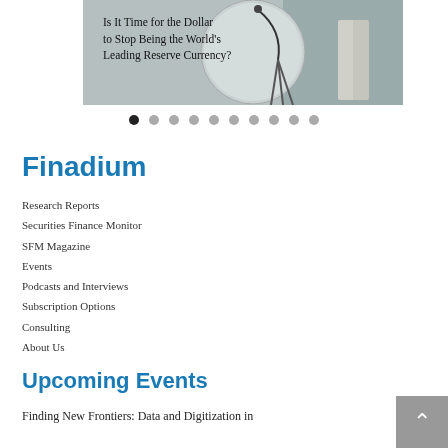[Figure (photo): Hero image showing a person and a microphone stand with text overlay: 'Is It Time for the Dollar to Stop Being the World's Leading Reserve Currency?']
Is It Time for the Dollar to Stop Being the World's Leading Reserve Currency?
[Figure (infographic): Row of 10 navigation dots, first dot is filled/active (black), remaining 9 are grey]
Finadium
Research Reports
Securities Finance Monitor
SFM Magazine
Events
Podcasts and Interviews
Subscription Options
Consulting
About Us
Upcoming Events
Finding New Frontiers: Data and Digitization in